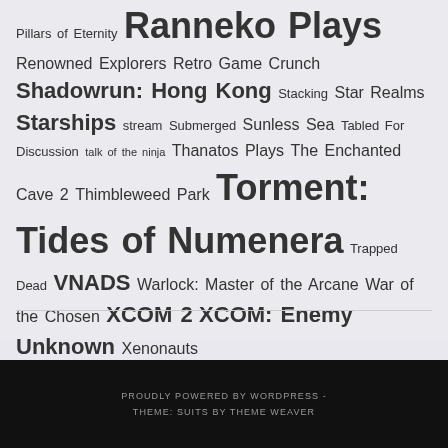Pillars of Eternity Ranneko Plays Renowned Explorers Retro Game Crunch Shadowrun: Hong Kong Stacking Star Realms Starships stream Submerged Sunless Sea Tabled For Discussion talk of the ninja Thanatos Plays The Enchanted Cave 2 Thimbleweed Park Torment: Tides of Numenera Trapped Dead VNADS Warlock: Master of the Arcane War of the Chosen XCOM 2 XCOM: Enemy Unknown Xenonauts
PROUDLY POWERED BY WORDPRESS - THEME: SUITS BY THEME WEAVER